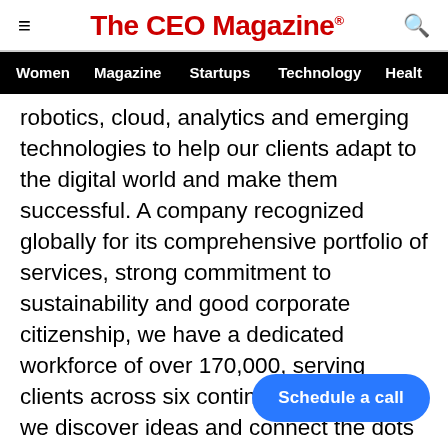≡  The CEO Magazine®  🔍
Women  Magazine  Startups  Technology  Healt
robotics, cloud, analytics and emerging technologies to help our clients adapt to the digital world and make them successful. A company recognized globally for its comprehensive portfolio of services, strong commitment to sustainability and good corporate citizenship, we have a dedicated workforce of over 170,000, serving clients across six continents. Together, we discover ideas and connect the dots to build a better and a bold new future.
Forward-looking and Cautiona